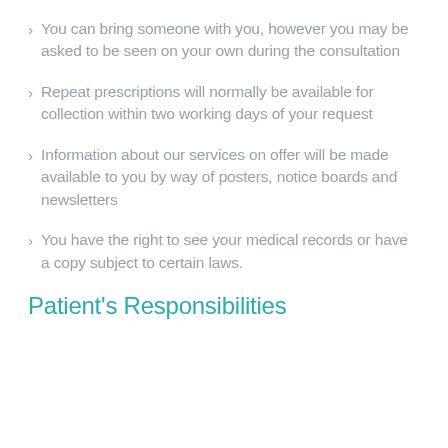You can bring someone with you, however you may be asked to be seen on your own during the consultation
Repeat prescriptions will normally be available for collection within two working days of your request
Information about our services on offer will be made available to you by way of posters, notice boards and newsletters
You have the right to see your medical records or have a copy subject to certain laws.
Patient's Responsibilities